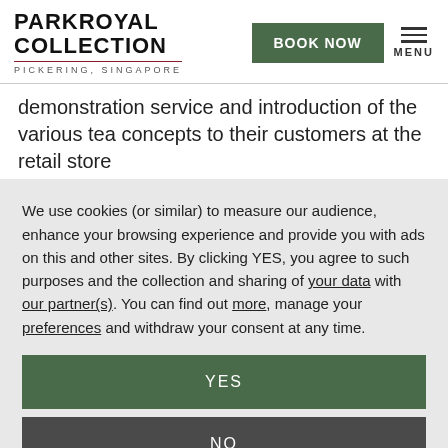[Figure (logo): PARKROYAL COLLECTION logo with PICKERING, SINGAPORE subtitle and dark red underline]
demonstration service and introduction of the various tea concepts to their customers at the retail store
We use cookies (or similar) to measure our audience, enhance your browsing experience and provide you with ads on this and other sites. By clicking YES, you agree to such purposes and the collection and sharing of your data with our partner(s). You can find out more, manage your preferences and withdraw your consent at any time.
YES
NO
MANAGE COOKIE PREFERENCES